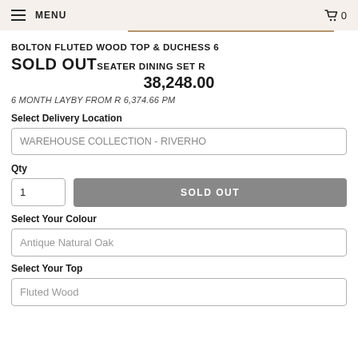MENU  🛒 0
BOLTON FLUTED WOOD TOP & DUCHESS 6 SEATER DINING SET R 38,248.00
SOLD OUT
6 MONTH LAYBY FROM R 6,374.66 PM
Select Delivery Location
WAREHOUSE COLLECTION - RIVERHO
Qty
1
SOLD OUT
Select Your Colour
Antique Natural Oak
Select Your Top
Fluted Wood